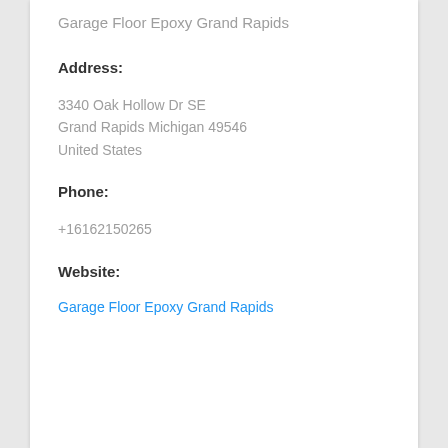Garage Floor Epoxy Grand Rapids
Address:
3340 Oak Hollow Dr SE
Grand Rapids Michigan 49546
United States
Phone:
+16162150265
Website:
Garage Floor Epoxy Grand Rapids